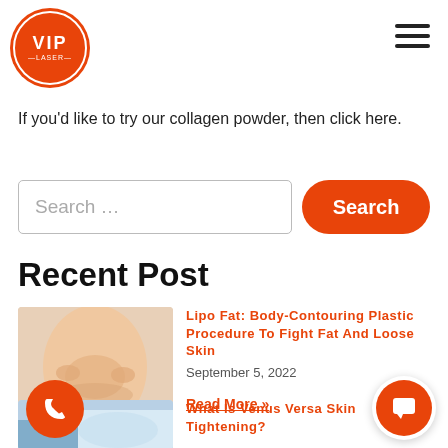VIP LASER
If you'd like to try our collagen powder, then click here.
Search ...
Recent Post
[Figure (photo): Woman pinching belly fat wearing white lingerie]
Lipo Fat: Body-Contouring Plastic Procedure To Fight Fat And Loose Skin
September 5, 2022
Read More »
[Figure (photo): Medical/cosmetic treatment photo]
What Is Venus Versa Skin Tightening?